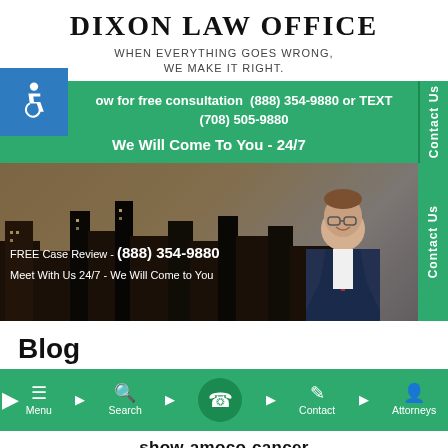DIXON LAW OFFICE
WHEN EVERYTHING GOES WRONG, WE MAKE IT RIGHT.
[Figure (screenshot): Accessibility icon (wheelchair symbol) on blue background]
ow for free consultation  (888) 354-9880 or TEXT (708) 505-9880
We Will Come To You - 24/7
[Figure (photo): Hero banner showing city skyline and attorney in suit, with text: FREE Case Review - (888) 354-9880 and Meet With Us 24/7 - We Will Come to You. A green Contact Us side tab is visible on the right.]
Blog
[Figure (screenshot): Bottom navigation bar with Menu, Search, phone call button, Contact, and Attorneys icons in green]
show-amoco-cancer